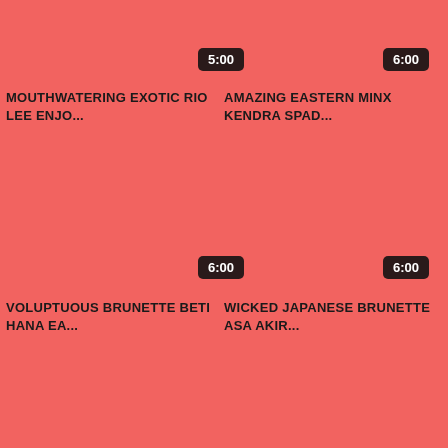5:00
6:00
MOUTHWATERING EXOTIC RIO LEE ENJO...
AMAZING EASTERN MINX KENDRA SPAD...
6:00
6:00
VOLUPTUOUS BRUNETTE BETI HANA EA...
WICKED JAPANESE BRUNETTE ASA AKIR...